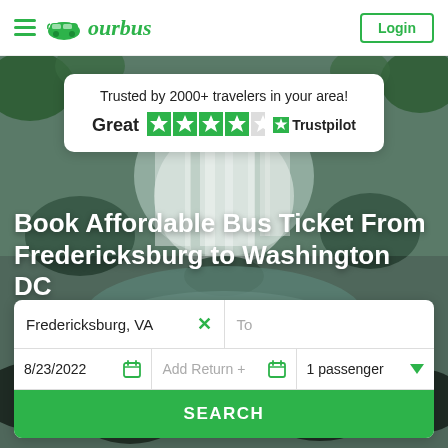[Figure (logo): OurBus logo with hamburger menu icon on the left and Login button on the right]
[Figure (photo): Waterfall and rocks background photo used as hero image]
Trusted by 2000+ travelers in your area!
Great ★★★★☆ Trustpilot
Book Affordable Bus Ticket From Fredericksburg to Washington DC
Fredericksburg, VA   X   To
8/23/2022   Add Return +   1 passenger
SEARCH